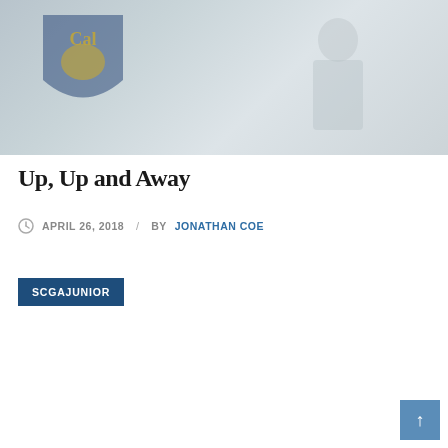[Figure (photo): Faded/washed-out photograph showing a UC Berkeley Cal shield/pennant flag on the left and people in military or outdoor gear on the right, with a light grayish-blue overlay.]
Up, Up and Away
APRIL 26, 2018  /  BY JONATHAN COE
SCGAJUNIOR